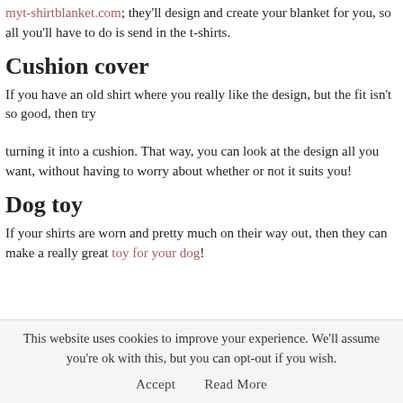myt-shirtblanket.com; they'll design and create your blanket for you, so all you'll have to do is send in the t-shirts.
Cushion cover
If you have an old shirt where you really like the design, but the fit isn't so good, then try
turning it into a cushion. That way, you can look at the design all you want, without having to worry about whether or not it suits you!
Dog toy
If your shirts are worn and pretty much on their way out, then they can make a really great toy for your dog!
This website uses cookies to improve your experience. We'll assume you're ok with this, but you can opt-out if you wish. Accept    Read More